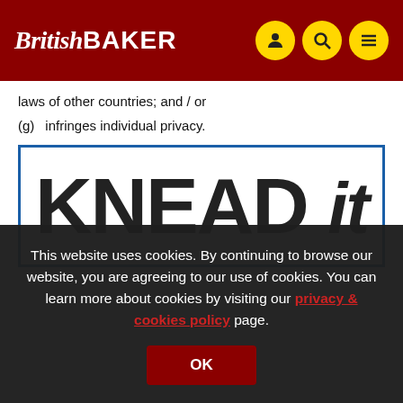BritishBAKER
laws of other countries; and / or
(g)    infringes individual privacy.
[Figure (illustration): KNEAD it logo/banner text in large bold font, inside a blue border rectangle]
This website uses cookies. By continuing to browse our website, you are agreeing to our use of cookies. You can learn more about cookies by visiting our privacy & cookies policy page.